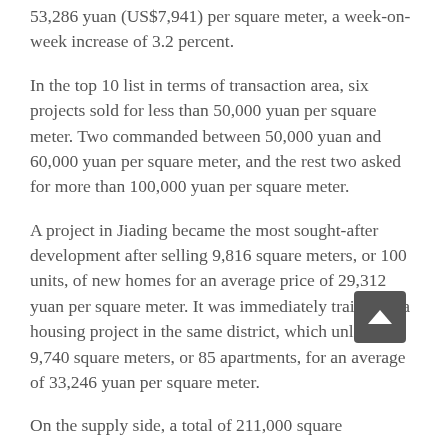53,286 yuan (US$7,941) per square meter, a week-on-week increase of 3.2 percent.
In the top 10 list in terms of transaction area, six projects sold for less than 50,000 yuan per square meter. Two commanded between 50,000 yuan and 60,000 yuan per square meter, and the rest two asked for more than 100,000 yuan per square meter.
A project in Jiading became the most sought-after development after selling 9,816 square meters, or 100 units, of new homes for an average price of 29,312 yuan per square meter. It was immediately trailed by a housing project in the same district, which unloaded 9,740 square meters, or 85 apartments, for an average of 33,246 yuan per square meter.
On the supply side, a total of 211,000 square